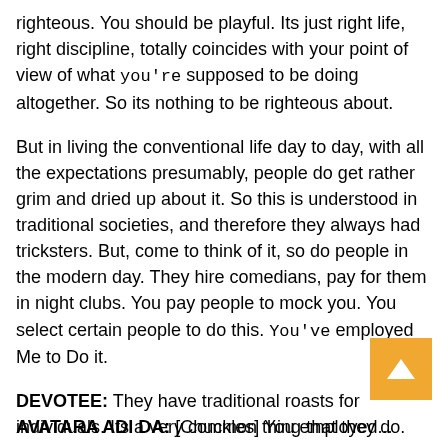righteous. You should be playful. Its just right life, right discipline, totally coincides with your point of view of what you're supposed to be doing altogether. So its nothing to be righteous about.
But in living the conventional life day to day, with all the expectations presumably, people do get rather grim and dried up about it. So this is understood in traditional societies, and therefore they always had tricksters. But, come to think of it, so do people in the modern day. They hire comedians, pay for them in night clubs. You pay people to mock you. You select certain people to do this. You've employed Me to Do it.
DEVOTEE: They have traditional roasts for individuals. Its a very common thing that they do.
AVATARA ADI DA: [Chuckles] You employed...